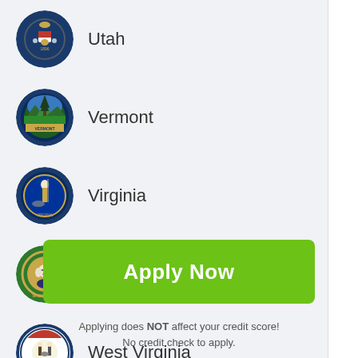Utah
Vermont
Virginia
Washington
West Virginia
Wisconsin
Apply Now
Applying does NOT affect your credit score!
No credit check to apply.